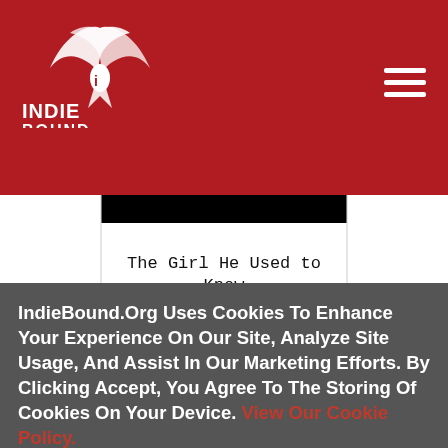[Figure (logo): IndieBound logo — white bird/book graphic with 'INDIE BOUND' text below, on red background]
[Figure (illustration): Hamburger menu icon (three horizontal white lines) in top right of red header]
[Figure (illustration): Book cover for 'The Girl He Used to Know' by Tracey Garvis Graves — white cover with black top bar, title in typewriter font, author name in small caps]
IndieBound.Org Uses Cookies To Enhance Your Experience On Our Site, Analyze Site Usage, And Assist In Our Marketing Efforts. By Clicking Accept, You Agree To The Storing Of Cookies On Your Device. View Our Cookie Policy.
Give me more info
Accept all Cookies